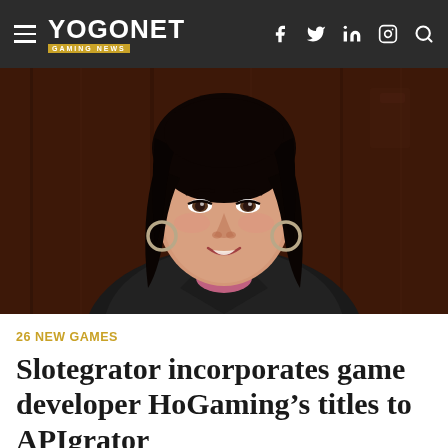YOGONET GAMING NEWS
[Figure (photo): Professional portrait photo of a woman with long dark hair, wearing a black blazer over a pink top with a pearl necklace and hoop earrings, smiling, against a dark wood-toned background]
26 NEW GAMES
Slotegrator incorporates game developer HoGaming’s titles to APIgrator